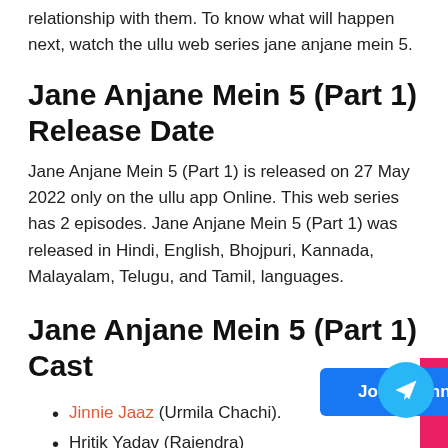relationship with them. To know what will happen next, watch the ullu web series jane anjane mein 5.
Jane Anjane Mein 5 (Part 1) Release Date
Jane Anjane Mein 5 (Part 1) is released on 27 May 2022 only on the ullu app Online. This web series has 2 episodes. Jane Anjane Mein 5 (Part 1) was released in Hindi, English, Bhojpuri, Kannada, Malayalam, Telugu, and Tamil, languages.
Jane Anjane Mein 5 (Part 1) Cast
Jinnie Jaaz (Urmila Chachi).
Hritik Yadav (Rajendra)